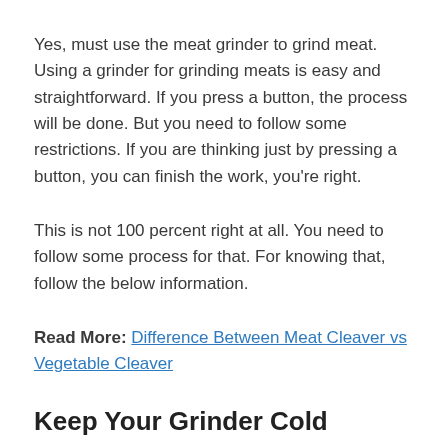Yes, must use the meat grinder to grind meat. Using a grinder for grinding meats is easy and straightforward. If you press a button, the process will be done. But you need to follow some restrictions. If you are thinking just by pressing a button, you can finish the work, you’re right.
This is not 100 percent right at all. You need to follow some process for that. For knowing that, follow the below information.
Read More: Difference Between Meat Cleaver vs Vegetable Cleaver
Keep Your Grinder Cold